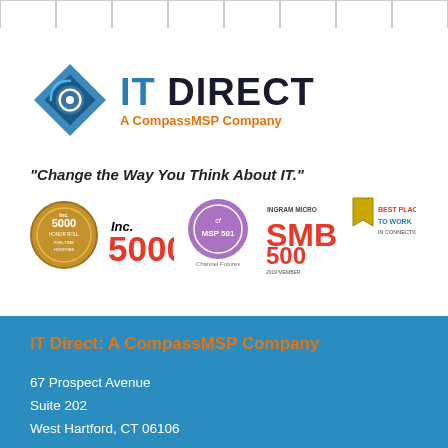[Figure (logo): IT Direct - A CompassMSP Company logo with blue diamond/gear icon and company name]
"Change the Way You Think About IT."
[Figure (infographic): Row of award badges: Inc. 5000 Honor Roll Five-Time Honoree, Inc. 5000, MSP 501 Channel Futures, Ingram Micro SMB 500, Best Places to Work in Connecticut]
IT Direct: A CompassMSP Company
67 Prospect Avenue
Suite 202
West Hartford, CT 06106